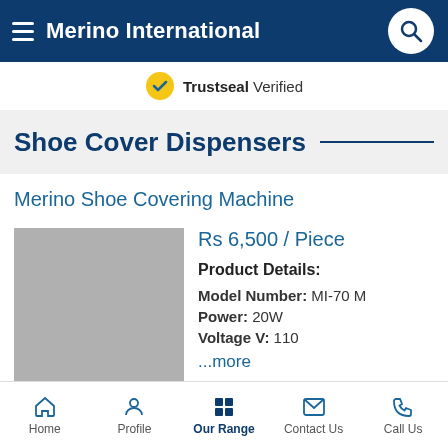Merino International
Trustseal Verified
Shoe Cover Dispensers
Merino Shoe Covering Machine
[Figure (photo): Product image placeholder (grey square)]
Rs 6,500 / Piece
Product Details:
Model Number: MI-70 M
Power: 20W
Voltage V: 110
...more
Home | Profile | Our Range | Contact Us | Call Us